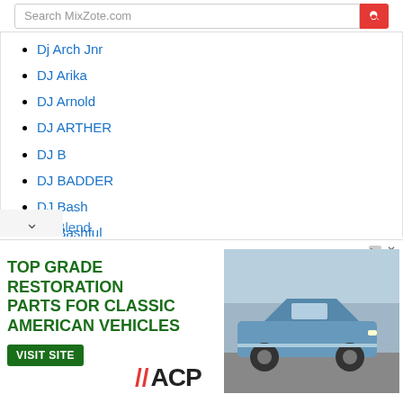Search MixZote.com
Dj Arch Jnr
DJ Arika
DJ Arnold
DJ ARTHER
DJ B
DJ BADDER
DJ Bash
DJ Bashful
DJ Bee 254
DJ Black Gypsy
DJ Blend
[Figure (illustration): Advertisement banner: TOP GRADE RESTORATION PARTS FOR CLASSIC AMERICAN VEHICLES with VISIT SITE button, ACP logo, and a classic American muscle car (Ford Mustang) photo]